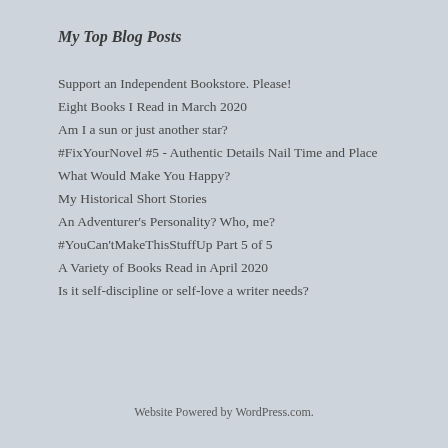My Top Blog Posts
Support an Independent Bookstore. Please!
Eight Books I Read in March 2020
Am I a sun or just another star?
#FixYourNovel #5 - Authentic Details Nail Time and Place
What Would Make You Happy?
My Historical Short Stories
An Adventurer's Personality? Who, me?
#YouCan'tMakeThisStuffUp Part 5 of 5
A Variety of Books Read in April 2020
Is it self-discipline or self-love a writer needs?
Website Powered by WordPress.com.